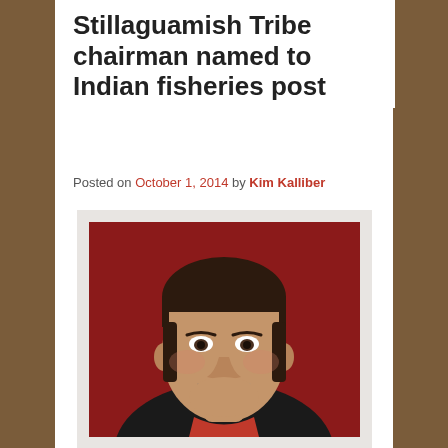Stillaguamish Tribe chairman named to Indian fisheries post
Posted on October 1, 2014 by Kim Kalliber
[Figure (photo): Portrait photo of Shawn Yanity, a middle-aged man with a mustache wearing a black jacket with red collar, photographed against a dark red background.]
— Shawn Yanity